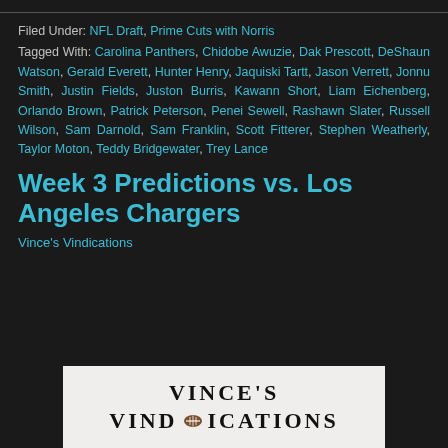Filed Under: NFL Draft, Prime Cuts with Norris
Tagged With: Carolina Panthers, Chidobe Awuzie, Dak Prescott, DeShaun Watson, Gerald Everett, Hunter Henry, Jaquiski Tartt, Jason Verrett, Jonnu Smith, Justin Fields, Juston Burris, Kawann Short, Liam Eichenberg, Orlando Brown, Patrick Peterson, Penei Sewell, Rashawn Slater, Russell Wilson, Sam Darnold, Sam Franklin, Scott Fitterer, Stephen Weatherly, Taylor Moton, Teddy Bridgewater, Trey Lance
Week 3 Predictions vs. Los Angeles Chargers
Vince's Vindications
[Figure (illustration): Vince's Vindications logo/image with white background showing bold serif text 'VINCE'S' and partially visible text below with a football icon]